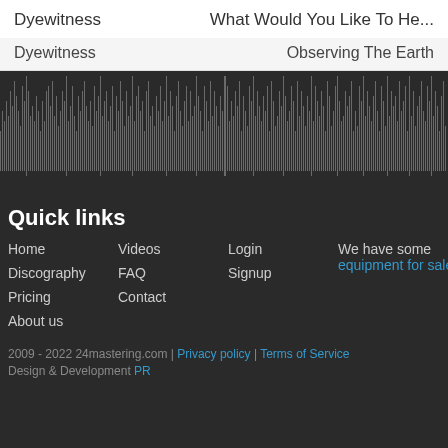Dyewitness   What Would You Like To He...
Dyewitness   Observing The Earth
[Figure (other): Audio waveform visualization showing a dense dark grey/black waveform display of a music track, with spikes of varying height representing audio amplitude across the track duration.]
Quick links
Home
Videos
Login
We have some equipment for sale
Discography
FAQ
Signup
Pricing
Contact
About us
2009 - 2022 24mastering.com | Privacy policy | Terms of Service
Design & Development PR